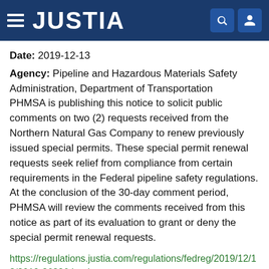[Figure (logo): Justia website header bar with hamburger menu, JUSTIA logo in white on dark blue background, and search/user icons on the right]
Date: 2019-12-13
Agency: Pipeline and Hazardous Materials Safety Administration, Department of Transportation
PHMSA is publishing this notice to solicit public comments on two (2) requests received from the Northern Natural Gas Company to renew previously issued special permits. These special permit renewal requests seek relief from compliance from certain requirements in the Federal pipeline safety regulations. At the conclusion of the 30-day comment period, PHMSA will review the comments received from this notice as part of its evaluation to grant or deny the special permit renewal requests.
https://regulations.justia.com/regulations/fedreg/2019/12/13/2019-26896.html